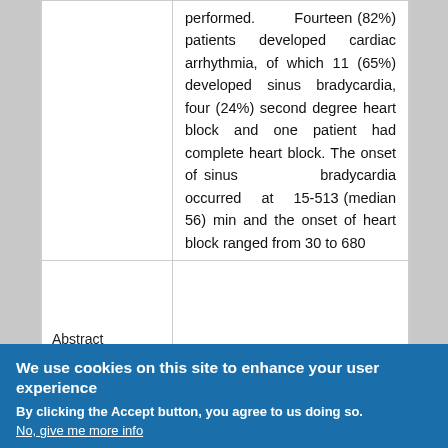|  |  |
| --- | --- |
|  | performed. Fourteen (82%) patients developed cardiac arrhythmia, of which 11 (65%) developed sinus bradycardia, four (24%) second degree heart block and one patient had complete heart block. The onset of sinus bradycardia occurred at 15-513 (median 56) min and the onset of heart block ranged from 30 to 680 |
| Abstract |  |
We use cookies on this site to enhance your user experience
By clicking the Accept button, you agree to us doing so.
No, give me more info